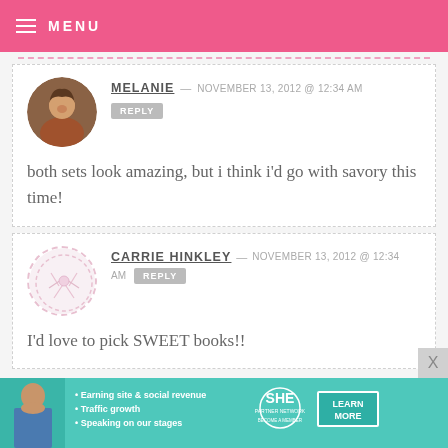MENU
MELANIE — NOVEMBER 13, 2012 @ 12:34 AM
REPLY
both sets look amazing, but i think i'd go with savory this time!
CARRIE HINKLEY — NOVEMBER 13, 2012 @ 12:34 AM
REPLY
I'd love to pick SWEET books!!
[Figure (infographic): SHE Partner Network advertisement banner with photo of woman, bullet points about earning site & social revenue, traffic growth, speaking on stages, and a Learn More button]